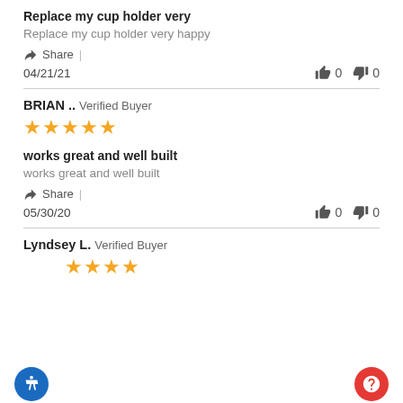Replace my cup holder very
Replace my cup holder very happy
Share |
04/21/21   👍 0   👎 0
BRIAN ..  Verified Buyer
★★★★★
works great and well built
works great and well built
Share |
05/30/20   👍 0   👎 0
Lyndsey L.  Verified Buyer
★★★★